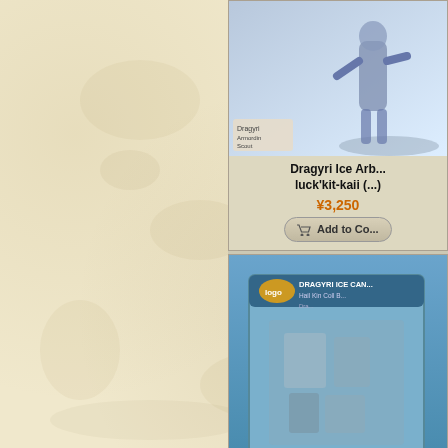[Figure (illustration): Parchment/leather textured background occupying the left two-thirds of the page]
[Figure (photo): Product image of Dragyri Ice Arbiter miniature figure on blue/white base - partially cropped at right edge]
Dragyri Ice Arb... luck'kit-kaii (...)
¥3,250
Add to Co...
[Figure (photo): Product box image: DRAGYRI ICE CAN... Hail Kin Coll B... Dra... - box art with grey/blue tones]
Dragyri Ice Ca... Hail Kin Unit B...
¥2,600
Add to Co...
[Figure (photo): Partially visible product image at bottom right - Dragyri Ice Corn... miniature or box]